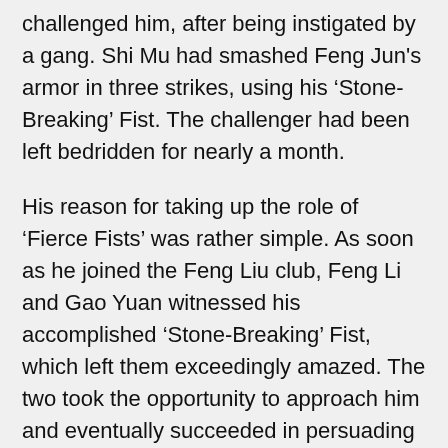challenged him, after being instigated by a gang. Shi Mu had smashed Feng Jun's armor in three strikes, using his 'Stone-Breaking' Fist. The challenger had been left bedridden for nearly a month.
His reason for taking up the role of 'Fierce Fists' was rather simple. As soon as he joined the Feng Liu club, Feng Li and Gao Yuan witnessed his accomplished 'Stone-Breaking' Fist, which left them exceedingly amazed. The two took the opportunity to approach him and eventually succeeded in persuading Shi Mu to take the place of the recently deceased 'Fierce Fists'. The previous 'Fierce Fists' had been the number one Martial Disciple in Black Fox gang and had just died of an illness. Shi Mu, hence, regularly began earning a